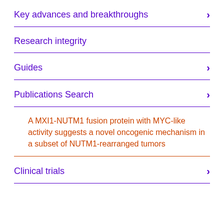Key advances and breakthroughs
Research integrity
Guides
Publications Search
A MXI1-NUTM1 fusion protein with MYC-like activity suggests a novel oncogenic mechanism in a subset of NUTM1-rearranged tumors
Clinical trials